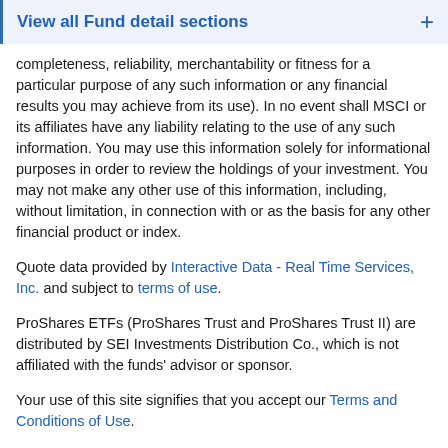View all Fund detail sections
completeness, reliability, merchantability or fitness for a particular purpose of any such information or any financial results you may achieve from its use). In no event shall MSCI or its affiliates have any liability relating to the use of any such information. You may use this information solely for informational purposes in order to review the holdings of your investment. You may not make any other use of this information, including, without limitation, in connection with or as the basis for any other financial product or index.
Quote data provided by Interactive Data - Real Time Services, Inc. and subject to terms of use.
ProShares ETFs (ProShares Trust and ProShares Trust II) are distributed by SEI Investments Distribution Co., which is not affiliated with the funds' advisor or sponsor.
Your use of this site signifies that you accept our Terms and Conditions of Use.